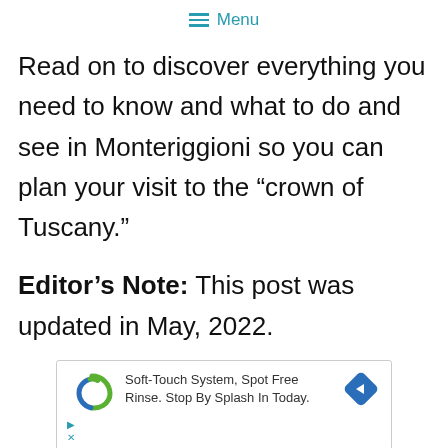☰ Menu
Read on to discover everything you need to know and what to do and see in Monteriggioni so you can plan your visit to the “crown of Tuscany.”
Editor’s Note: This post was updated in May, 2022.
[Figure (other): Advertisement banner: Soft-Touch System, Spot Free Rinse. Stop By Splash In Today. With a swirl logo and a blue diamond arrow icon.]